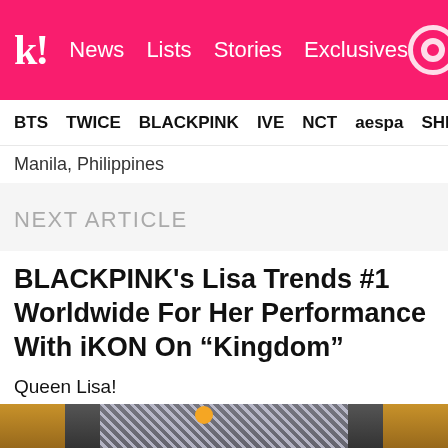k! News  Lists  Stories  Exclusives
BTS  TWICE  BLACKPINK  IVE  NCT  aespa  SHINee
Manila, Philippines
NEXT ARTICLE
BLACKPINK's Lisa Trends #1 Worldwide For Her Performance With iKON On “Kingdom”
Queen Lisa!
[Figure (photo): Photo of Lisa performing, wearing chainmail headpiece, with crown emoji overlay, wooden background panels visible]